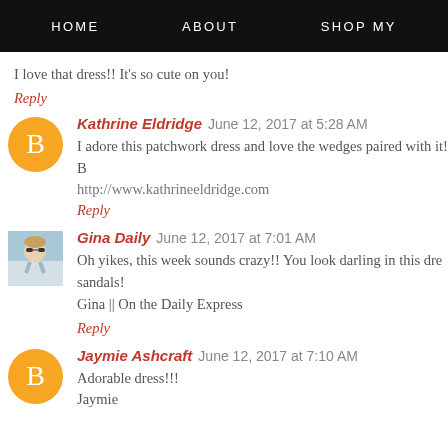HOME   ABOUT   SHOP MY
I love that dress!! It's so cute on you!
Reply
Kathrine Eldridge  June 12, 2017 at 5:28 AM
I adore this patchwork dress and love the wedges paired with it! B
http://www.kathrineeldridge.com
Reply
Gina Daily  June 12, 2017 at 7:01 AM
Oh yikes, this week sounds crazy!! You look darling in this dre sandals!
Gina || On the Daily Express
Reply
Jaymie Ashcraft  June 12, 2017 at 7:10 AM
Adorable dress!!!
Jaymie